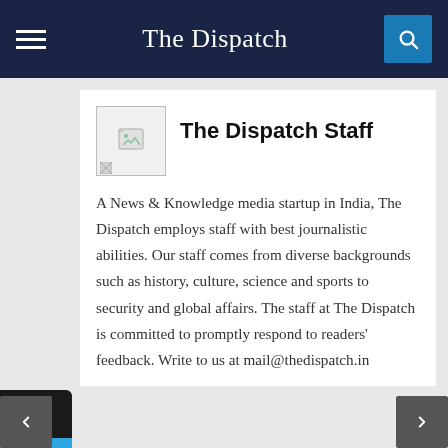The Dispatch
The Dispatch Staff
A News & Knowledge media startup in India, The Dispatch employs staff with best journalistic abilities. Our staff comes from diverse backgrounds such as history, culture, science and sports to security and global affairs. The staff at The Dispatch is committed to promptly respond to readers' feedback. Write to us at mail@thedispatch.in